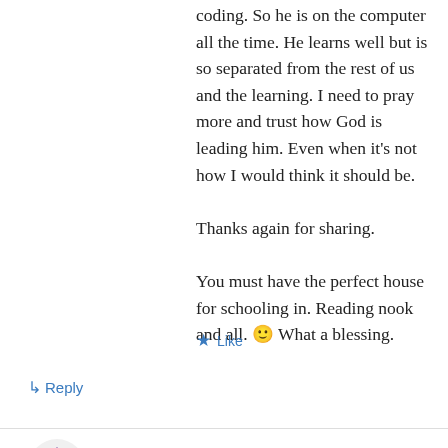coding. So he is on the computer all the time. He learns well but is so separated from the rest of us and the learning. I need to pray more and trust how God is leading him. Even when it's not how I would think it should be.
Thanks again for sharing.
You must have the perfect house for schooling in. Reading nook and all. 🙂 What a blessing.
★ Like
↳ Reply
CMommy on August 12, 2016 at 12:39 am
Thank you for taking the time to write such a comprehensive post! I am also a mother to all boys, so the your emphasis on short focused